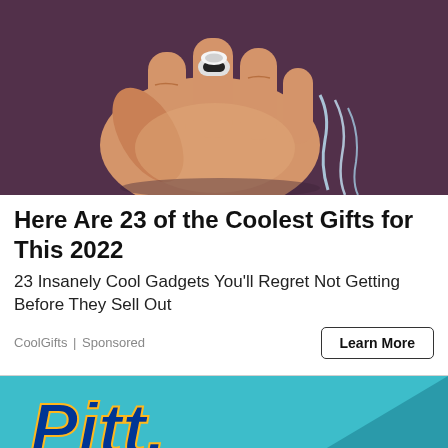[Figure (photo): Close-up photo of a human hand wearing a ring-shaped water dispenser gadget, with water streaming from it, against a dark purple background.]
Here Are 23 of the Coolest Gifts for This 2022
23 Insanely Cool Gadgets You'll Regret Not Getting Before They Sell Out
CoolGifts | Sponsored
[Figure (logo): Pitt (University of Pittsburgh) logo in blue and gold lettering on a teal/cyan background.]